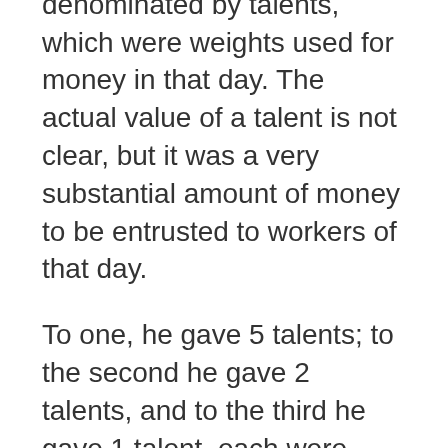different amounts of money, denominated by talents, which were weights used for money in that day. The actual value of a talent is not clear, but it was a very substantial amount of money to be entrusted to workers of that day.
To one, he gave 5 talents; to the second he gave 2 talents, and to the third he gave 1 talent, each were given talents according their ability.
Upon his return he asks what they did with the money. The first and second workers invested their talents and doubled their money, and received the master's praise.
Eugene Peterson in his paraphrase of the Bible, entitled The Message records the master's words as saying: “Good work! You did your job well. From now on, be my